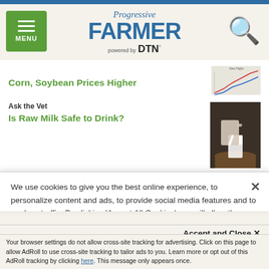Progressive FARMER powered by DTN
Corn, Soybean Prices Higher
Ask the Vet
Is Raw Milk Safe to Drink?
Cattle Market Hearings Set for Senate and House
We use cookies to give you the best online experience, to personalize content and ads, to provide social media features and to analyze traffic. By clicking 'Accept All Cookies' you will allow the use of these cookies. Your settings can be changed, including withdrawing your consent at any time, by clicking 'Cookie Settings'. Find out more on how we and third parties use cookies in our Cookie Policy
Accept and Close ×
Your browser settings do not allow cross-site tracking for advertising. Click on this page to allow AdRoll to use cross-site tracking to tailor ads to you. Learn more or opt out of this AdRoll tracking by clicking here. This message only appears once.